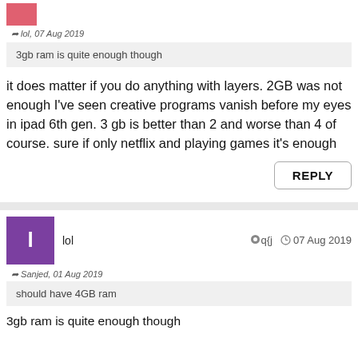[Figure (illustration): Pink/red avatar square, partially visible at top]
lol, 07 Aug 2019
3gb ram is quite enough though
it does matter if you do anything with layers. 2GB was not enough I've seen creative programs vanish before my eyes in ipad 6th gen. 3 gb is better than 2 and worse than 4 of course. sure if only netflix and playing games it's enough
REPLY
[Figure (illustration): Purple avatar square with letter l]
lol
q{j   07 Aug 2019
Sanjed, 01 Aug 2019
should have 4GB ram
3gb ram is quite enough though